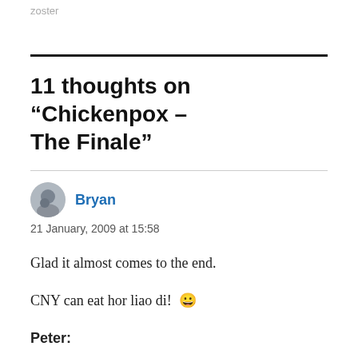zoster
11 thoughts on “Chickenpox – The Finale”
Bryan
21 January, 2009 at 15:58

Glad it almost comes to the end.

CNY can eat hor liao di! 😀
Peter: